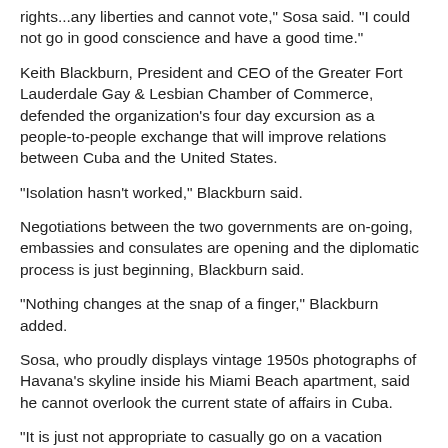rights...any liberties and cannot vote," Sosa said. "I could not go in good conscience and have a good time."
Keith Blackburn, President and CEO of the Greater Fort Lauderdale Gay & Lesbian Chamber of Commerce, defended the organization's four day excursion as a people-to-people exchange that will improve relations between Cuba and the United States.
"Isolation hasn't worked," Blackburn said.
Negotiations between the two governments are on-going, embassies and consulates are opening and the diplomatic process is just beginning, Blackburn said.
"Nothing changes at the snap of a finger," Blackburn added.
Sosa, who proudly displays vintage 1950s photographs of Havana's skyline inside his Miami Beach apartment, said he cannot overlook the current state of affairs in Cuba.
"It is just not appropriate to casually go on a vacation there," Sosa said.
Blackburn said he "respectfully disagrees" with Sosa.
Between 10-25 people are expected to participate on the